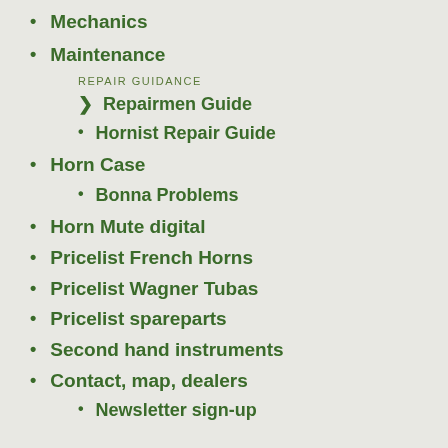Mechanics
Maintenance
REPAIR GUIDANCE
Repairmen Guide
Hornist Repair Guide
Horn Case
Bonna Problems
Horn Mute digital
Pricelist French Horns
Pricelist Wagner Tubas
Pricelist spareparts
Second hand instruments
Contact, map, dealers
Newsletter sign-up